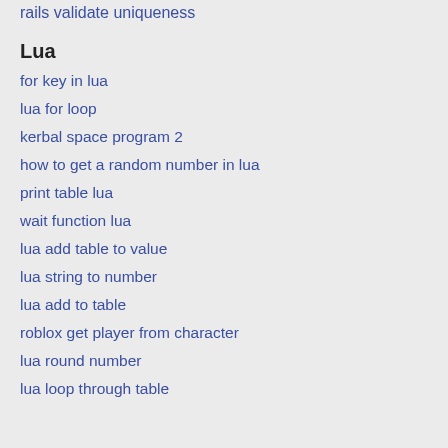rails validate uniqueness
Lua
for key in lua
lua for loop
kerbal space program 2
how to get a random number in lua
print table lua
wait function lua
lua add table to value
lua string to number
lua add to table
roblox get player from character
lua round number
lua loop through table